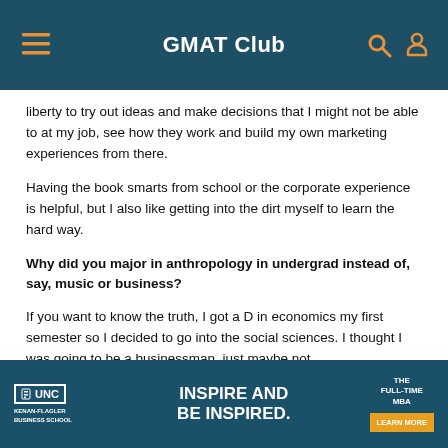GMAT Club
liberty to try out ideas and make decisions that I might not be able to at my job, see how they work and build my own marketing experiences from there.
Having the book smarts from school or the corporate experience is helpful, but I also like getting into the dirt myself to learn the hard way.
Why did you major in anthropology in undergrad instead of, say, music or business?
If you want to know the truth, I got a D in economics my first semester so I decided to go into the social sciences. I thought I was going to be a businessman, just maybe not
[Figure (infographic): UNC Kenan-Flagler Business School advertisement banner with text 'INSPIRE AND BE INSPIRED.' and 'THE FULL-TIME MBA' with a 'LEARN MORE' button]